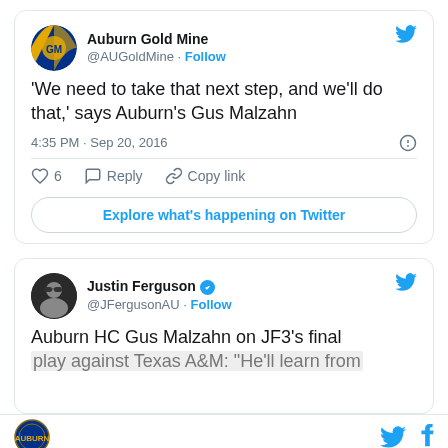[Figure (screenshot): Tweet from @AUGoldMine (Auburn Gold Mine) with avatar showing blue and gold colors with Auburn logo]
'We need to take that next step, and we'll do that,' says Auburn's Gus Malzahn
4:35 PM · Sep 20, 2016
♡ 6   Reply   Copy link
Explore what's happening on Twitter
[Figure (screenshot): Tweet from @JFergusonAU (Justin Ferguson, verified) with profile photo]
Auburn HC Gus Malzahn on JF3's final play against Texas A&M: "He'll learn from
[Figure (logo): Auburn logo bottom left and Twitter/Facebook social icons bottom right]